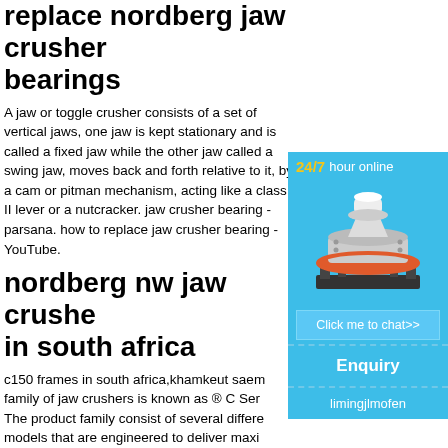replace nordberg jaw crusher bearings
A jaw or toggle crusher consists of a set of vertical jaws, one jaw is kept stationary and is called a fixed jaw while the other jaw called a swing jaw, moves back and forth relative to it, by a cam or pitman mechanism, acting like a class II lever or a nutcracker. jaw crusher bearing - parsana. how to replace jaw crusher bearing - YouTube.
nordberg nw jaw crusher in south africa
[Figure (illustration): Chat widget with 24/7 hour online label, image of a cone crusher machine, Click me to chat>> button, Enquiry section, and limingjlmofen text on blue background]
c150 frames in south africa,khamkeut saem... s family of jaw crushers is known as ® C Ser... s. The product family consist of several differe... er models that are engineered to deliver maxi... at the lowest operating costs. ® C Series™ ja... proven to be reliable and productive in thou... .
replace nordberg jaw c screws